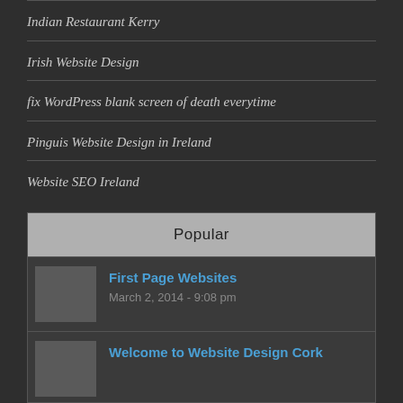Indian Restaurant Kerry
Irish Website Design
fix WordPress blank screen of death everytime
Pinguis Website Design in Ireland
Website SEO Ireland
Popular
First Page Websites
March 2, 2014 - 9:08 pm
Welcome to Website Design Cork